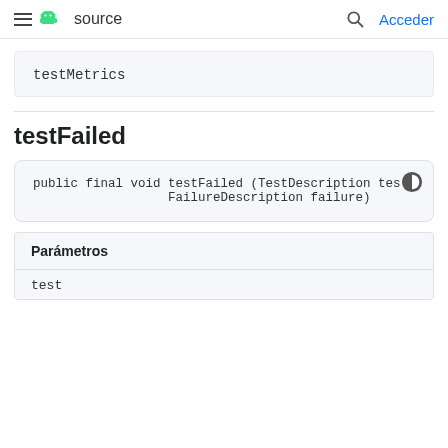≡ [android] source  🔍  Acceder
testMetrics
testFailed
public final void testFailed (TestDescription tes
                  FailureDescription failure)
| Parámetros |
| --- |
| test |
test